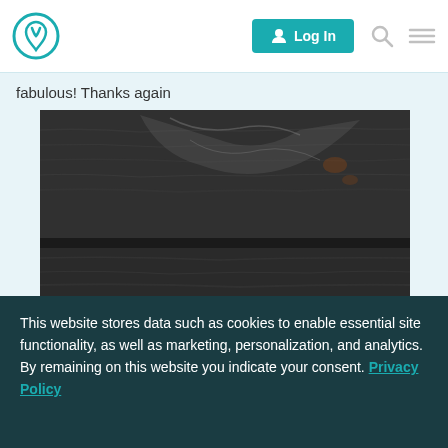Log In
fabulous! Thanks again
[Figure (photo): Close-up photo of a dark weathered wooden surface with rough grain texture; partial view of tan/cream colored cursive lettering visible at the bottom of the image.]
This website stores data such as cookies to enable essential site functionality, as well as marketing, personalization, and analytics. By remaining on this website you indicate your consent. Privacy Policy